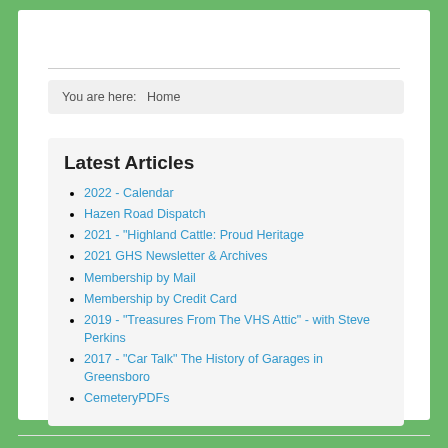You are here:   Home
Latest Articles
2022 - Calendar
Hazen Road Dispatch
2021 - "Highland Cattle: Proud Heritage
2021 GHS Newsletter & Archives
Membership by Mail
Membership by Credit Card
2019 - "Treasures From The VHS Attic" - with Steve Perkins
2017 - "Car Talk" The History of Garages in Greensboro
CemeteryPDFs